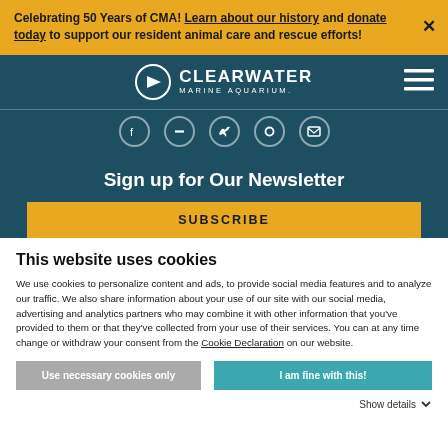Celebrating 50 Years of CMA! Learn about our history and donate today to support our resident animal care and rescue efforts!
[Figure (logo): Clearwater Marine Aquarium logo with circular arrow icon, white text on dark teal navbar background]
[Figure (infographic): Social media icon row showing Facebook, minus/dash, Twitter/bird, circle, and email icons in circles]
Sign up for Our Newsletter
SUBSCRIBE
This website uses cookies
We use cookies to personalize content and ads, to provide social media features and to analyze our traffic. We also share information about your use of our site with our social media, advertising and analytics partners who may combine it with other information that you've provided to them or that they've collected from your use of their services. You can at any time change or withdraw your consent from the Cookie Declaration on our website.
Use necessary cookies only
I am fine with this!
Show details